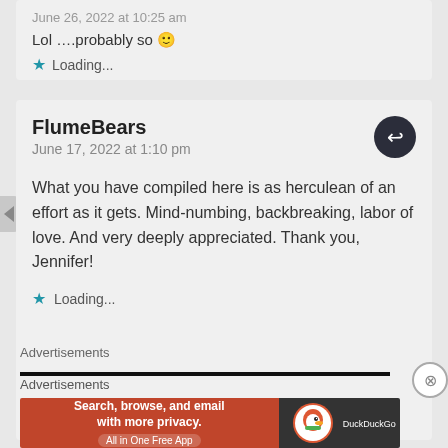June 26, 2022 at 10:25 am
Lol ….probably so 🙂
Loading...
FlumeBears
June 17, 2022 at 1:10 pm
What you have compiled here is as herculean of an effort as it gets. Mind-numbing, backbreaking, labor of love. And very deeply appreciated. Thank you, Jennifer!
Loading...
Advertisements
Advertisements
[Figure (infographic): DuckDuckGo advertisement banner: orange left side with text 'Search, browse, and email with more privacy. All in One Free App', dark right side with DuckDuckGo logo]